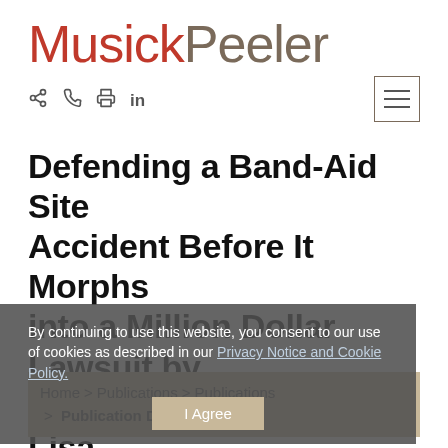[Figure (logo): MusickPeeler law firm logo in red and brown/gray serif text]
share | phone | print | linkedin | [hamburger menu]
Defending a Band-Aid Site Accident Before It Morphs into a Million Dollar Lawsuit by Rosemary Nunn and Lisa Heing
By continuing to use this website, you consent to our use of cookies as described in our Privacy Notice and Cookie Policy.
I Agree
Home > Publications > Publications > Publication Details